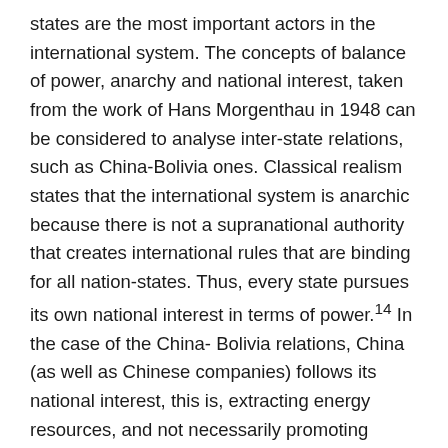states are the most important actors in the international system. The concepts of balance of power, anarchy and national interest, taken from the work of Hans Morgenthau in 1948 can be considered to analyse inter-state relations, such as China-Bolivia ones. Classical realism states that the international system is anarchic because there is not a supranational authority that creates international rules that are binding for all nation-states. Thus, every state pursues its own national interest in terms of power.14 In the case of the China- Bolivia relations, China (as well as Chinese companies) follows its national interest, this is, extracting energy resources, and not necessarily promoting Bolivian development. For Classical Realism, the nation-state is unified in the person of the Head of Government. In this case, in the period studied here, the interest of Evo Morales during his administrations would be considered the best interest of the Bolivian state.
Classical realism, nevertheless, does not explain that